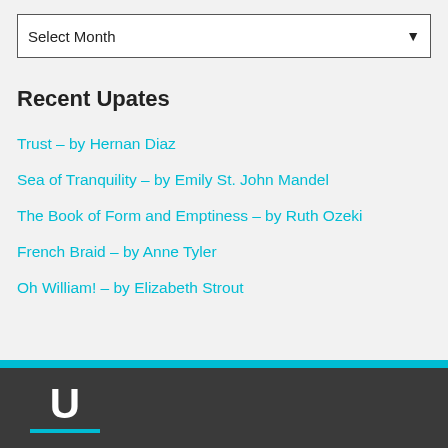Select Month
Recent Upates
Trust – by Hernan Diaz
Sea of Tranquility – by Emily St. John Mandel
The Book of Form and Emptiness – by Ruth Ozeki
French Braid – by Anne Tyler
Oh William! – by Elizabeth Strout
U